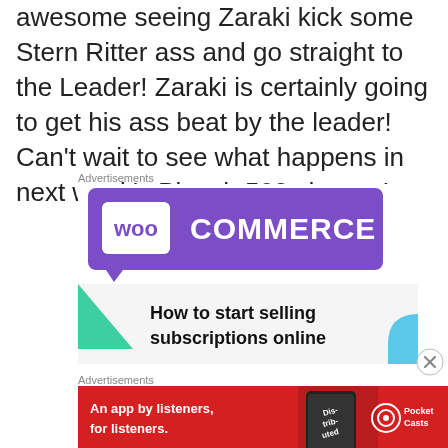awesome seeing Zaraki kick some Stern Ritter ass and go straight to the Leader! Zaraki is certainly going to get his ass beat by the leader! Can't wait to see what happens in next week's Bleach 503 chapter!
[Figure (infographic): WooCommerce advertisement banner: purple and white background with WooCommerce logo (speech bubble with 'woo' text), green triangle shape, light blue arc shape, text reading 'How to start selling subscriptions online']
[Figure (infographic): Pocket Casts advertisement: red background with phone showing 'Distributed' text, Pocket Casts logo and text 'An app by listeners, for listeners.']